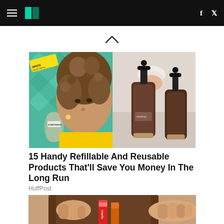HuffPost navigation header with logo, hamburger menu, Facebook and Twitter icons
[Figure (other): Upward chevron navigation arrow]
[Figure (photo): Two side-by-side product photos: left shows a young woman with curly hair holding a Somethings bottle with a MINDS liquid refill packet in a teal chevron-tiled bathroom; right shows two dark brown pump bottles labeled 'raindrop' on a light surface with a hand squeezing foam]
15 Handy Refillable And Reusable Products That'll Save You Money In The Long Run
HuffPost
[Figure (photo): Close-up of hands holding a brown leather roll with Crayola crayons inside]